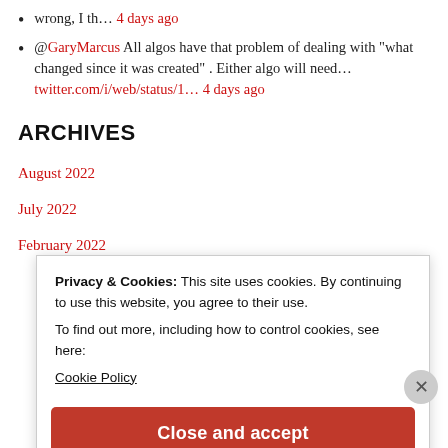wrong, I th… 4 days ago
@GaryMarcus All algos have that problem of dealing with "what changed since it was created" . Either algo will need… twitter.com/i/web/status/1… 4 days ago
ARCHIVES
August 2022
July 2022
February 2022
Privacy & Cookies: This site uses cookies. By continuing to use this website, you agree to their use.
To find out more, including how to control cookies, see here:
Cookie Policy
Close and accept